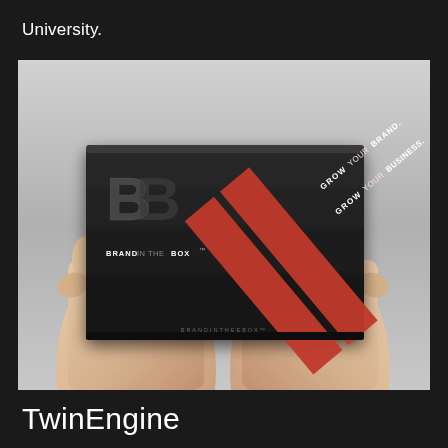University.
[Figure (photo): Hands holding a black branded box labeled 'BRAND IN THE BOX' with a BB logo and red diagonal stripes reading 'GROW YOUR BRAND. GROW YOUR BUSINESS.']
TwinEngine